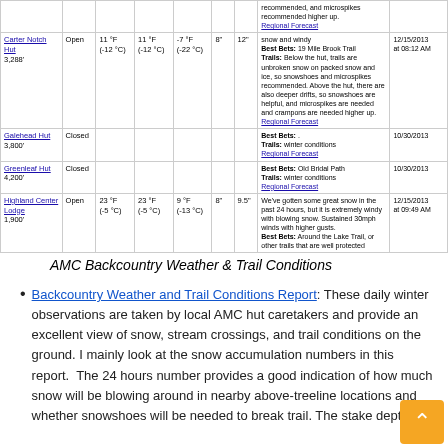| Hut | Status | Temp (Hi) | Temp (Lo) | Wind | 24hr Snow | Stake Depth | Conditions | Date/Time |
| --- | --- | --- | --- | --- | --- | --- | --- | --- |
| Carter Notch Hut 3,288' | Open | 11 °F (-12 °C) | 11 °F (-12 °C) | -7 °F (-22 °C) | 8" | 12" | snow and windy Best Bets: 19 Mile Brook Trail Trails: Below the hut, trails are unbroken snow on packed snow and ice, so snowshoes and microspikes recommended. Above the hut, there are also deeper drifts, so snowshoes are helpful, and microspikes are needed and crampons are needed higher up. Regional Forecast | 12/15/2013 at 08:12 AM |
| Galehead Hut 3,800' | Closed |  |  |  |  |  | Best Bets: . Trails: winter conditions Regional Forecast | 10/30/2013 |
| Greenleaf Hut 4,200' | Closed |  |  |  |  |  | Best Bets: Old Bridal Path Trails: winter conditions Regional Forecast | 10/30/2013 |
| Highland Center Lodge 1,900' | Open | 23 °F (-5 °C) | 23 °F (-5 °C) | 9 °F (-13 °C) | 8" | 9.5" | We've gotten some great snow in the past 24 hours, but it is extremely windy with blowing snow. Sustained 30mph winds with higher gusts. Best Bets: Around the Lake Trail, or other trails that are well protected | 12/15/2013 at 09:49 AM |
AMC Backcountry Weather & Trail Conditions
Backcountry Weather and Trail Conditions Report: These daily winter observations are taken by local AMC hut caretakers and provide an excellent view of snow, stream crossings, and trail conditions on the ground. I mainly look at the snow accumulation numbers in this report.  The 24 hours number provides a good indication of how much snow will be blowing around in nearby above-treeline locations and whether snowshoes will be needed to break trail. The stake depth is useful for predicting snow depth for backcountry...